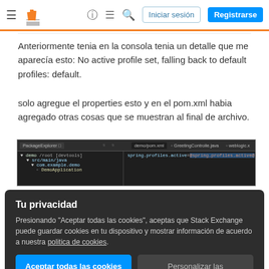Stack Exchange - Iniciar sesión | Registrarse
Anteriormente tenia en la consola tenia un detalle que me aparecía esto: No active profile set, falling back to default profiles: default.
solo agregue el properties esto y en el pom.xml habia agregado otras cosas que se muestran al final de archivo.
[Figure (screenshot): IDE screenshot showing PackageExplorer with demo project structure on the left and pom.xml/GreetingController.java tabs on the right with spring.profiles.active property highlighted]
Tu privacidad
Presionando "Aceptar todas las cookies", aceptas que Stack Exchange puede guardar cookies en tu dispositivo y mostrar información de acuerdo a nuestra politica de cookies.
Aceptar todas las cookies | Personalizar las configuraciones
y el web.xml para que supiera como mapear las